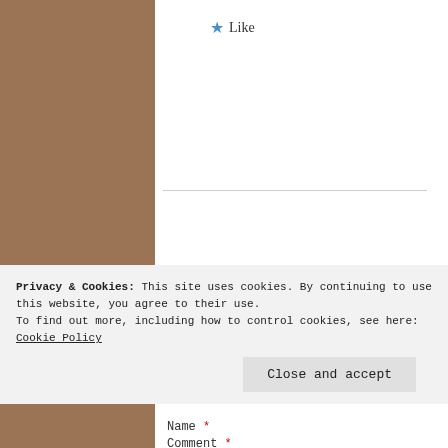★ Like
Reply
Leave a Reply
Your email address will not be published. Required fields are marked *
Comment *
Privacy & Cookies: This site uses cookies. By continuing to use this website, you agree to their use. To find out more, including how to control cookies, see here: Cookie Policy
Close and accept
Name *